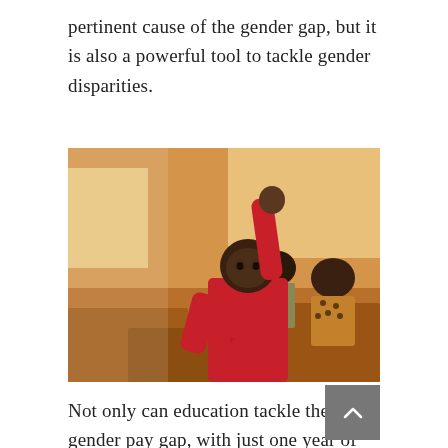pertinent cause of the gender gap, but it is also a powerful tool to tackle gender disparities.
[Figure (photo): A young African girl in a red sweater raising her hand in a classroom, with other students visible in the background seated at wooden desks.]
Not only can education tackle the gender pay gap, with just one year of secondary school education improving a woman's lifetime earnings by 25%